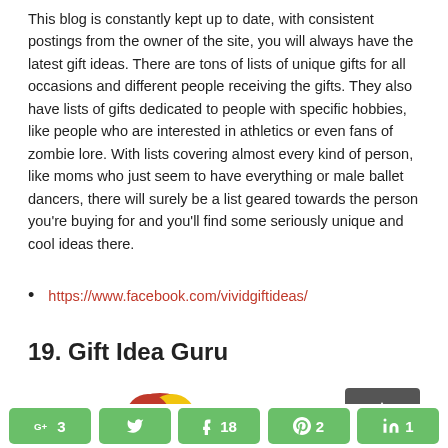This blog is constantly kept up to date, with consistent postings from the owner of the site, you will always have the latest gift ideas. There are tons of lists of unique gifts for all occasions and different people receiving the gifts. They also have lists of gifts dedicated to people with specific hobbies, like people who are interested in athletics or even fans of zombie lore. With lists covering almost every kind of person, like moms who just seem to have everything or male ballet dancers, there will surely be a list geared towards the person you're buying for and you'll find some seriously unique and cool ideas there.
https://www.facebook.com/vividgiftideas/
19. Gift Idea Guru
[Figure (illustration): Partial colorful logo/illustration with red and yellow colors, partially visible at bottom of page]
[Figure (illustration): Dark gray rectangular shape, partially visible at right side of page]
G+ 3   [Twitter]   f 18   [Pinterest] 2   in 1